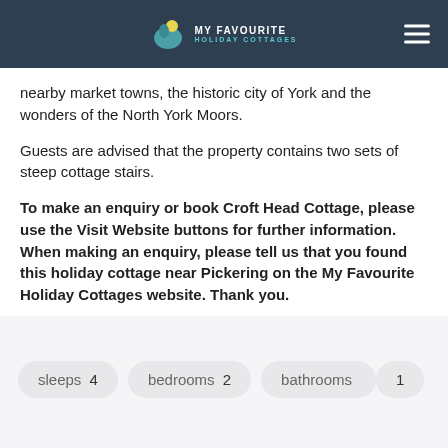MY FAVOURITE HOLIDAY COTTAGES
nearby market towns, the historic city of York and the wonders of the North York Moors.
Guests are advised that the property contains two sets of steep cottage stairs.
To make an enquiry or book Croft Head Cottage, please use the Visit Website buttons for further information. When making an enquiry, please tell us that you found this holiday cottage near Pickering on the My Favourite Holiday Cottages website. Thank you.
sleeps  4
bedrooms  2
bathrooms  1